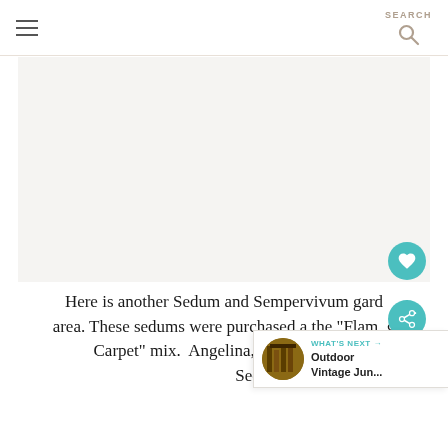≡   SEARCH 🔍
[Figure (photo): Large light gray placeholder image area for a Sedum and Sempervivum garden photo]
Here is another Sedum and Sempervivum gard... area. These sedums were purchased a the "Flaming Carpet" mix.  Angelina, Blue Spruce and Sedums.